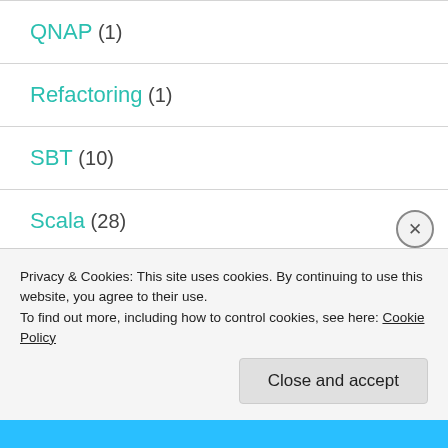QNAP (1)
Refactoring (1)
SBT (10)
Scala (28)
Scala IDE (1)
Scalatra (1)
Privacy & Cookies: This site uses cookies. By continuing to use this website, you agree to their use.
To find out more, including how to control cookies, see here: Cookie Policy
Close and accept